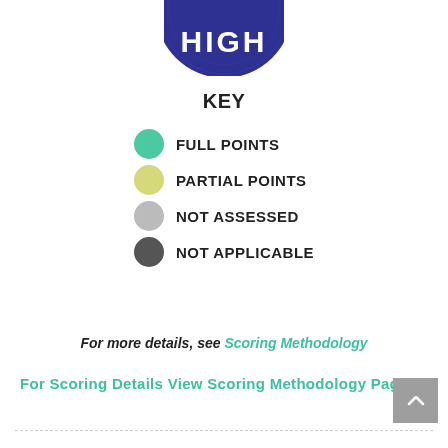[Figure (illustration): Blue circular badge with text HIGH in white bold letters]
KEY
FULL POINTS
PARTIAL POINTS
NOT ASSESSED
NOT APPLICABLE
For more details, see Scoring Methodology
For Scoring Details View Scoring Methodology Page